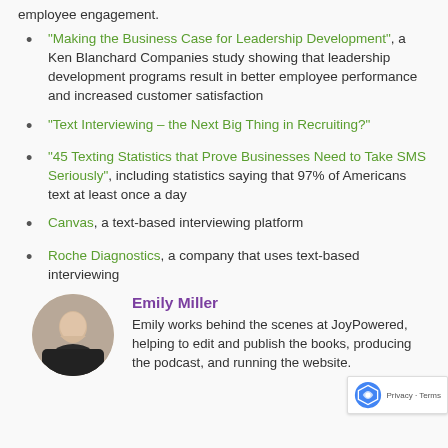employee engagement.
"Making the Business Case for Leadership Development", a Ken Blanchard Companies study showing that leadership development programs result in better employee performance and increased customer satisfaction
"Text Interviewing – the Next Big Thing in Recruiting?"
"45 Texting Statistics that Prove Businesses Need to Take SMS Seriously", including statistics saying that 97% of Americans text at least once a day
Canvas, a text-based interviewing platform
Roche Diagnostics, a company that uses text-based interviewing
Emily Miller
Emily works behind the scenes at JoyPowered, helping to edit and publish the books, producing the podcast, and running the website.